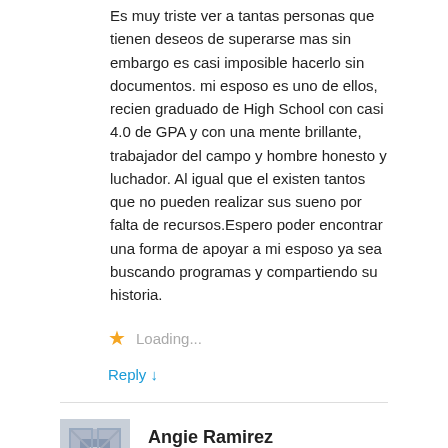Es muy triste ver a tantas personas que tienen deseos de superarse mas sin embargo es casi imposible hacerlo sin documentos. mi esposo es uno de ellos, recien graduado de High School con casi 4.0 de GPA y con una mente brillante, trabajador del campo y hombre honesto y luchador. Al igual que el existen tantos que no pueden realizar sus sueno por falta de recursos.Espero poder encontrar una forma de apoyar a mi esposo ya sea buscando programas y compartiendo su historia.
★ Loading...
Reply ↓
Angie Ramirez
October 12, 2015 • 7:53 am
Veo con tristeza y frustración q no hay becas disponibles para adultos indocumentados…..en mi caso, soy madre sola, con 7 hijos, mi deseo más grande es continuar estudiando x mi y x mis hijos, obtuve mi ged. Y aunq hay